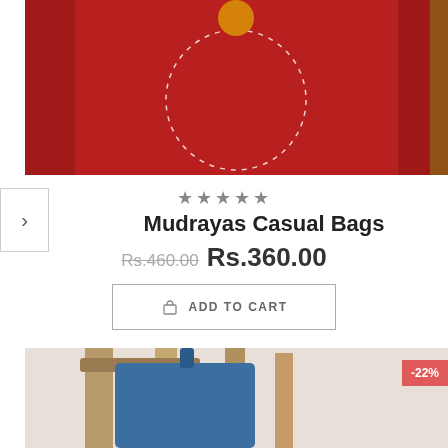[Figure (photo): Red fabric casual bag with white stitched circle detail and orange emblem at top center, photographed against wooden background.]
★★★★★
Mudrayas Casual Bags
Rs.460.00  Rs.360.00
ADD TO CART
[Figure (photo): Blue fabric bag hanging on a wooden rack/stand, partially visible. A -22% discount badge is shown in the top-right corner.]